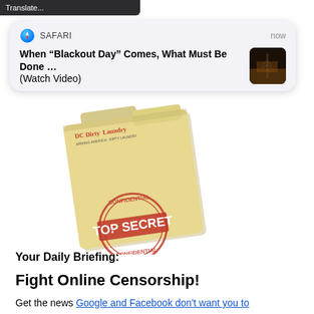[Figure (screenshot): Dark top bar with 'Translate...' text partially visible]
[Figure (screenshot): iOS Safari push notification card showing 'When "Blackout Day" Comes, What Must Be Done ... (Watch Video)' with Safari icon, timestamp 'now', and a small thumbnail of a dark image with light]
[Figure (illustration): Illustration of a manila folder stamped with 'TOP SECRET CONFIDENTIAL' red stamp and DC Dirty Laundry logo at top]
Your Daily Briefing:
Fight Online Censorship!
Get the news Google and Facebook don't want you to